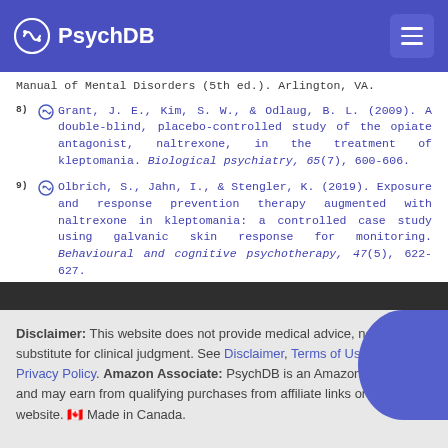PsychDB
Manual of Mental Disorders (5th ed.). Arlington, VA.
8) Grant, J. E., Kim, S. W., & Odlaug, B. L. (2009). A double-blind, placebo-controlled study of the opiate antagonist, naltrexone, in the treatment of kleptomania. Biological psychiatry, 65(7), 600-606.
9) Olbrich, S., Jahn, I., & Stengler, K. (2019). Exposure and response prevention therapy augmented with naltrexone in kleptomania: a controlled case study using galvanic skin response for monitoring. Behavioural and cognitive psychotherapy, 47(5), 622-627.
Disclaimer: This website does not provide medical advice, nor is it a substitute for clinical judgment. See Disclaimer, Terms of Use, and Privacy Policy. Amazon Associate: PsychDB is an Amazon Associate and may earn from qualifying purchases from affiliate links on this website. Made in Canada.
Proudly hosted by Dreamhost